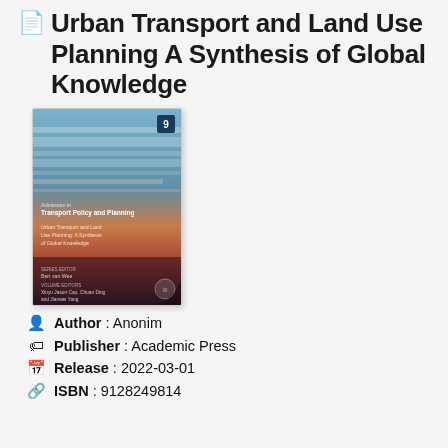Urban Transport and Land Use Planning A Synthesis of Global Knowledge
[Figure (photo): Book cover of 'Urban Transport and Land Use Planning: A Synthesis of Global Knowledge' from Advances in Transport Policy and Planning series, number 9. Cover shows abstract blue and orange/red gradient horizontal bands. Authors: Bert van Wee (series editor), Xinyu Jason Cao, Chuan Ding and Jianwei Yang (volume editors).]
Author : Anonim
Publisher : Academic Press
Release : 2022-03-01
ISBN : 9128249814